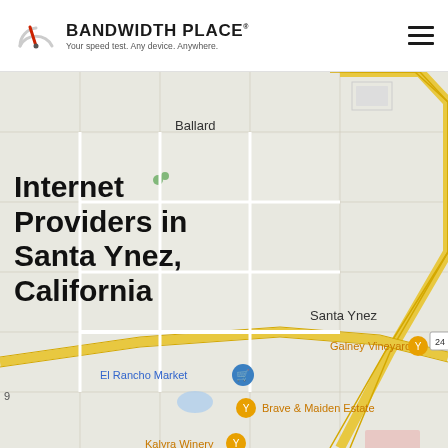BANDWIDTH PLACE — Your speed test. Any device. Anywhere.
[Figure (map): Google Maps view of Santa Ynez, California area showing Ballard, El Rancho Market, Santa Ynez, Galney Vineyard, Brave & Maiden Estate, Kalyra Winery, Sunstone Winery]
Internet Providers in Santa Ynez, California